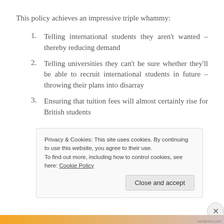This policy achieves an impressive triple whammy:
Telling international students they aren't wanted – thereby reducing demand
Telling universities they can't be sure whether they'll be able to recruit international students in future – throwing their plans into disarray
Ensuring that tuition fees will almost certainly rise for British students
Privacy & Cookies: This site uses cookies. By continuing to use this website, you agree to their use.
To find out more, including how to control cookies, see here: Cookie Policy
Close and accept